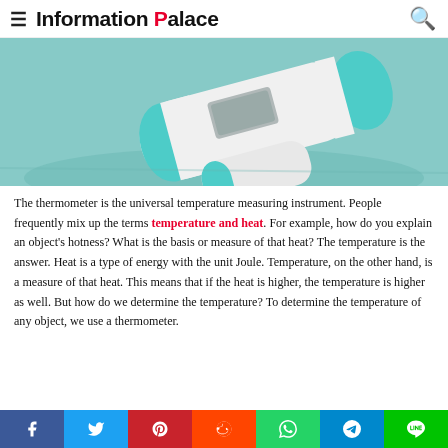Information Palace
[Figure (photo): A white and teal infrared thermometer gun lying on a light blue/teal surface, photographed from above at an angle.]
The thermometer is the universal temperature measuring instrument. People frequently mix up the terms temperature and heat. For example, how do you explain an object's hotness? What is the basis or measure of that heat? The temperature is the answer. Heat is a type of energy with the unit Joule. Temperature, on the other hand, is a measure of that heat. This means that if the heat is higher, the temperature is higher as well. But how do we determine the temperature? To determine the temperature of any object, we use a thermometer.
Social share bar: Facebook, Twitter, Pinterest, Reddit, WhatsApp, Telegram, Line